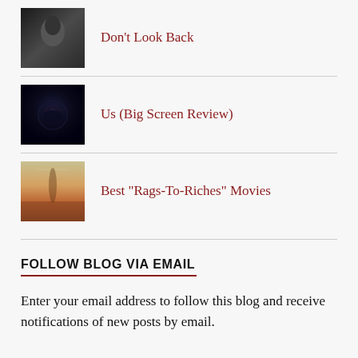Don't Look Back
Us (Big Screen Review)
Best "Rags-To-Riches" Movies
FOLLOW BLOG VIA EMAIL
Enter your email address to follow this blog and receive notifications of new posts by email.